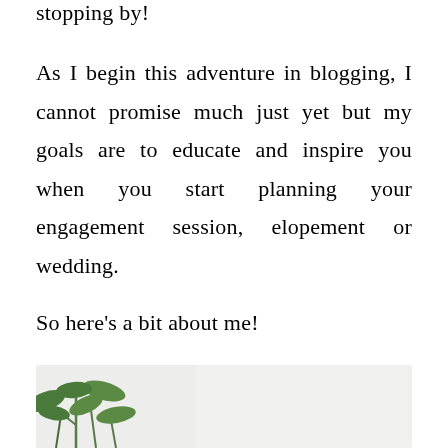stopping by!
As I begin this adventure in blogging, I cannot promise much just yet but my goals are to educate and inspire you when you start planning your engagement session, elopement or wedding.
So here's a bit about me!
[Figure (photo): Photo with green plant leaves visible in the lower left corner against a light grey/white background]